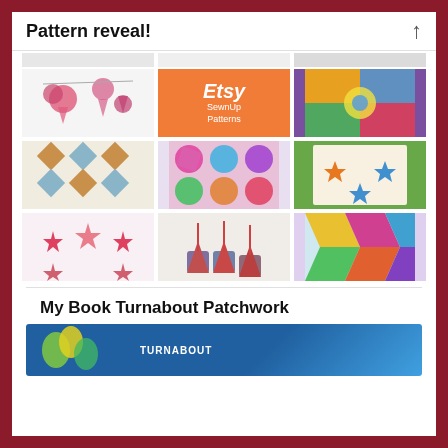Pattern reveal!
[Figure (photo): A 3x3 grid of quilt and sewing pattern images, including heart bunting, an Etsy SewnUp Patterns orange tile, colorful quilts, star quilts, small decorative pillows, and a patchwork quilt.]
My Book Turnabout Patchwork
[Figure (photo): Partial view of a book cover with blue background showing 'Turnabout Patchwork' title and leaf/floral design.]